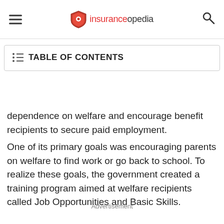insuranceopedia
TABLE OF CONTENTS
dependence on welfare and encourage benefit recipients to secure paid employment.
One of its primary goals was encouraging parents on welfare to find work or go back to school. To realize these goals, the government created a training program aimed at welfare recipients called Job Opportunities and Basic Skills.
Advertisement